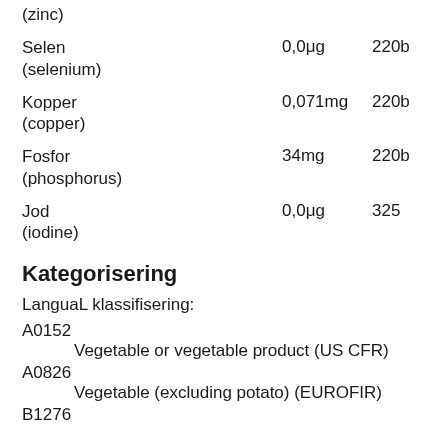(zinc)
Selen (selenium)	0,0μg	220b
Kopper (copper)	0,071mg	220b
Fosfor (phosphorus)	34mg	220b
Jod (iodine)	0,0μg	325
Kategorisering
LanguaL klassifisering:
A0152
    Vegetable or vegetable product (US CFR)
A0826
    Vegetable (excluding potato) (EUROFIR)
B1276